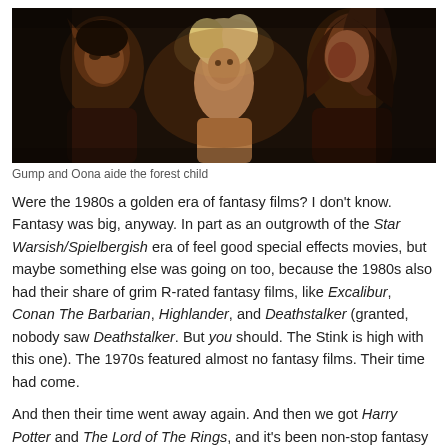[Figure (photo): A scene from the movie Legend showing three characters: an elf with pointed ears on the left, a small blonde child in the center, and a person with long hair on the right, lit with warm dramatic light in a forest setting.]
Gump and Oona aide the forest child
Were the 1980s a golden era of fantasy films? I don't know. Fantasy was big, anyway. In part as an outgrowth of the Star Warsish/Spielbergish era of feel good special effects movies, but maybe something else was going on too, because the 1980s also had their share of grim R-rated fantasy films, like Excalibur, Conan The Barbarian, Highlander, and Deathstalker (granted, nobody saw Deathstalker. But you should. The Stink is high with this one). The 1970s featured almost no fantasy films. Their time had come.
And then their time went away again. And then we got Harry Potter and The Lord of The Rings, and it's been non-stop fantasy fun-time ever since. Which can only mean one thing: the Legend remake can't be far away. I hope they get a director with vision. How about Ridley Scott? He made Prometheus, and now